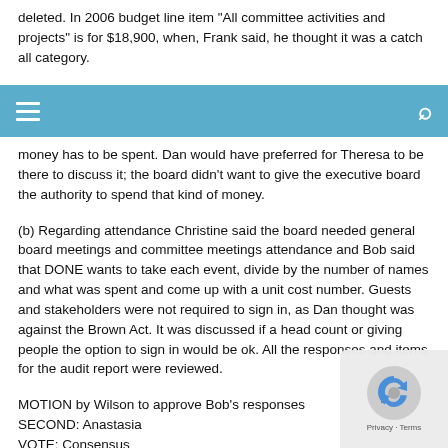deleted. In 2006 budget line item “All committee activities and projects” is for $18,900, when, Frank said, he thought it was a catch all category.
money has to be spent. Dan would have preferred for Theresa to be there to discuss it; the board didn’t want to give the executive board the authority to spend that kind of money.
(b) Regarding attendance Christine said the board needed general board meetings and committee meetings attendance and Bob said that DONE wants to take each event, divide by the number of names and what was spent and come up with a unit cost number. Guests and stakeholders were not required to sign in, as Dan thought was against the Brown Act. It was discussed if a head count or giving people the option to sign in would be ok. All the responses and items for the audit report were reviewed.
MOTION by Wilson to approve Bob’s responses
SECOND: Anastasia
VOTE: Consensus